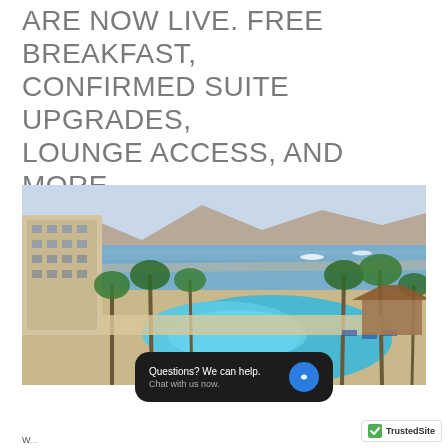ARE NOW LIVE. FREE BREAKFAST, CONFIRMED SUITE UPGRADES, LOUNGE ACCESS, AND MORE.
[Figure (photo): Aerial/elevated view of a luxury resort hotel with a large swimming pool surrounded by palm trees, beach chairs, and overlooking a bay with mountains in the background. A tall hotel building is visible on the left side.]
Questions? We can help. Chat with us now.
TrustedSite
W...